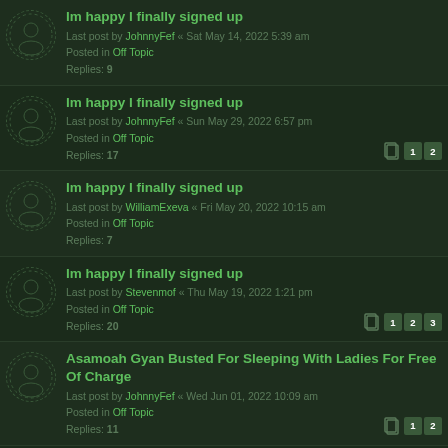Im happy I finally signed up
Last post by JohnnyFef « Sat May 14, 2022 5:39 am
Posted in Off Topic
Replies: 9
Im happy I finally signed up
Last post by JohnnyFef « Sun May 29, 2022 6:57 pm
Posted in Off Topic
Replies: 17
Im happy I finally signed up
Last post by WilliamExeva « Fri May 20, 2022 10:15 am
Posted in Off Topic
Replies: 7
Im happy I finally signed up
Last post by Stevenmof « Thu May 19, 2022 1:21 pm
Posted in Off Topic
Replies: 20
Asamoah Gyan Busted For Sleeping With Ladies For Free Of Charge
Last post by JohnnyFef « Wed Jun 01, 2022 10:09 am
Posted in Off Topic
Replies: 11
Asamoah Gyan Busted For Sleeping With Ladies For